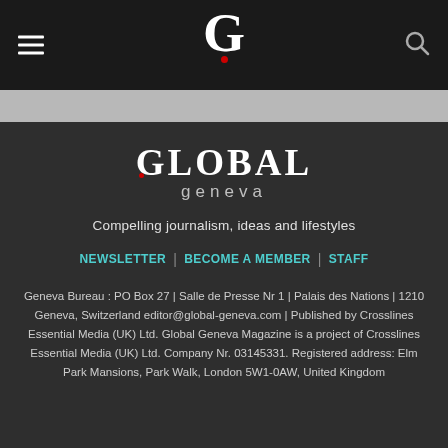Global Geneva navigation bar with hamburger menu, G logo, and search icon
[Figure (logo): Global Geneva logo with large white G and red dot below on dark background]
[Figure (logo): GLOBAL geneva text logo with red dot accent]
Compelling journalism, ideas and lifestyles
NEWSLETTER | BECOME A MEMBER | STAFF
Geneva Bureau : PO Box 27 | Salle de Presse Nr 1 | Palais des Nations | 1210 Geneva, Switzerland editor@global-geneva.com | Published by Crosslines Essential Media (UK) Ltd. Global Geneva Magazine is a project of Crosslines Essential Media (UK) Ltd. Company Nr. 03145331. Registered address: Elm Park Mansions, Park Walk, London 5W1-0AW, United Kingdom